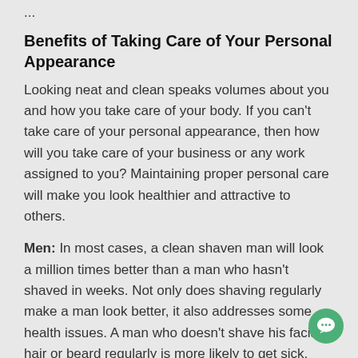...
Benefits of Taking Care of Your Personal Appearance
Looking neat and clean speaks volumes about you and how you take care of your body. If you can't take care of your personal appearance, then how will you take care of your business or any work assigned to you? Maintaining proper personal care will make you look healthier and attractive to others.
Men: In most cases, a clean shaven man will look a million times better than a man who hasn't shaved in weeks. Not only does shaving regularly make a man look better, it also addresses some health issues. A man who doesn't shave his facial hair or beard regularly is more likely to get sick. Neglected beard could catch old food which can develop bacteria that could cause serious health problems. Get the best men shavers at Hitshop.pk and get rid of that facial hair before it's too late.
Women: Women who keep their hair and fingernails neat and clean are treated with respect by the society. Unkempt hair and chipped nails will only lower your self-esteem. Trim your